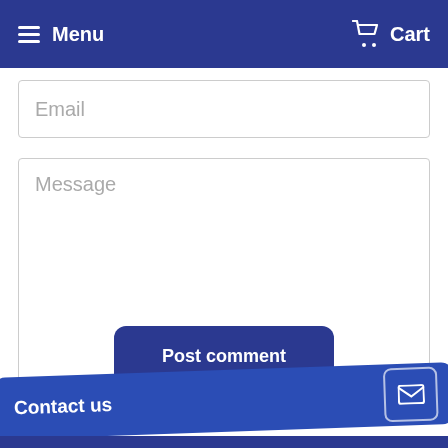Menu   Cart
Email
Message
Please note, comments must be approved before they are published.
Post comment
Search Blog
Contact us